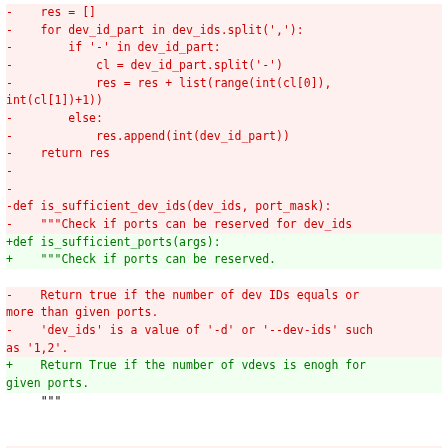Code diff showing changes to is_sufficient_dev_ids function being renamed to is_sufficient_ports, with associated parameter and docstring changes.